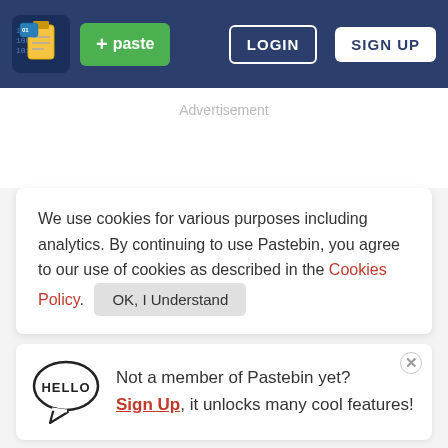[Figure (screenshot): Pastebin website header with logo, green paste button, LOGIN and SIGN UP buttons on dark blue background]
Advertisement
We use cookies for various purposes including analytics. By continuing to use Pastebin, you agree to our use of cookies as described in the Cookies Policy. OK, I Understand
Not a member of Pastebin yet? Sign Up, it unlocks many cool features!
Wordpress City selector sample widget
WPDREAMS   MAR 18TH, 2014   1,157   NEVER
Not a member of Pastebin yet? Sign Up, it unlocks many cool features!